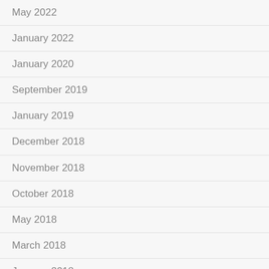May 2022
January 2022
January 2020
September 2019
January 2019
December 2018
November 2018
October 2018
May 2018
March 2018
January 2018